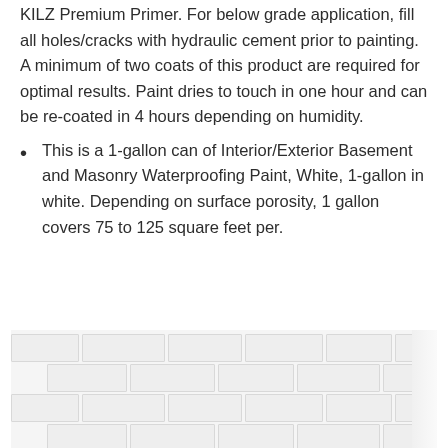KILZ Premium Primer. For below grade application, fill all holes/cracks with hydraulic cement prior to painting. A minimum of two coats of this product are required for optimal results. Paint dries to touch in one hour and can be re-coated in 4 hours depending on humidity.
This is a 1-gallon can of Interior/Exterior Basement and Masonry Waterproofing Paint, White, 1-gallon in white. Depending on surface porosity, 1 gallon covers 75 to 125 square feet per.
[Figure (photo): Photo of a white painted brick/masonry wall surface showing texture and waterproofing effect, partial view with wall edge visible on right side]